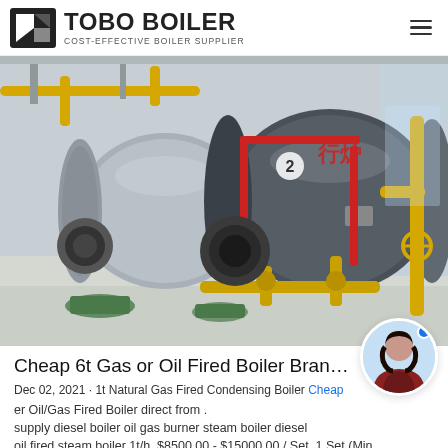[Figure (logo): TOBO BOILER logo with icon and text 'COST-EFFECTIVE BOILER SUPPLIER']
[Figure (photo): Industrial boiler room with two large horizontal gas/oil fired steam boilers, yellow gas pipes, red pipes, concrete floor]
Cheap 6t Gas or Oil Fired Boiler Bran...
Dec 02, 2021 · 1t Natural Gas Fired Condensing Boiler Cheap er Oil/Gas Fired Boiler direct from . supply diesel boiler oil gas burner steam boiler diesel oil fired steam boiler 1t/h. $8500.00 - $15000.00 / Set. 1 Set (Min...